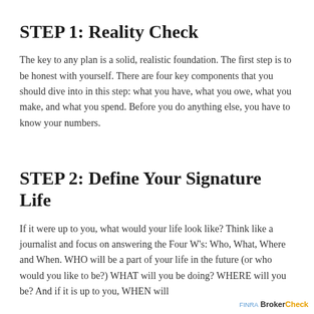STEP 1: Reality Check
The key to any plan is a solid, realistic foundation. The first step is to be honest with yourself. There are four key components that you should dive into in this step: what you have, what you owe, what you make, and what you spend. Before you do anything else, you have to know your numbers.
STEP 2: Define Your Signature Life
If it were up to you, what would your life look like? Think like a journalist and focus on answering the Four W's: Who, What, Where and When. WHO will be a part of your life in the future (or who would you like to be?) WHAT will you be doing? WHERE will you be? And if it is up to you, WHEN will…